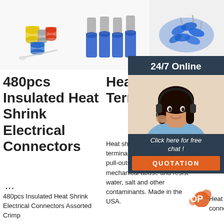[Figure (photo): Product image of heat shrink insulated electrical connectors assorted set with colored connectors]
[Figure (photo): Product image of blue heat shrink terminals, four cylindrical blue-tipped connectors]
[Figure (photo): Product image of blue crimp wire connectors pile]
[Figure (photo): Customer support chat widget with woman wearing headset, 24/7 Online text, Click here for free chat and QUOTATION button]
480pcs Insulated Heat Shrink Electrical Connectors
...
480pcs Insulated Heat Shrink Electrical Connectors Assorted Crimp
Heat Shrink Terminals
Heat shrink insulated terminals protect the wire from pull-outs, abrasions, mechanical abuse and resist water, salt and other contaminants. Made in the USA.
Heat Shrink Butt Splice Adhesive Lined Wire Connectors
Heat shrink butt splice terminal connectors are adhesive lined